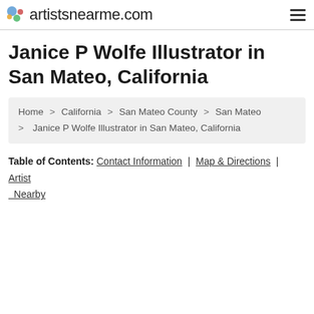artistsnearme.com
Janice P Wolfe Illustrator in San Mateo, California
Home > California > San Mateo County > San Mateo > Janice P Wolfe Illustrator in San Mateo, California
Table of Contents: Contact Information | Map & Directions | Artist Nearby